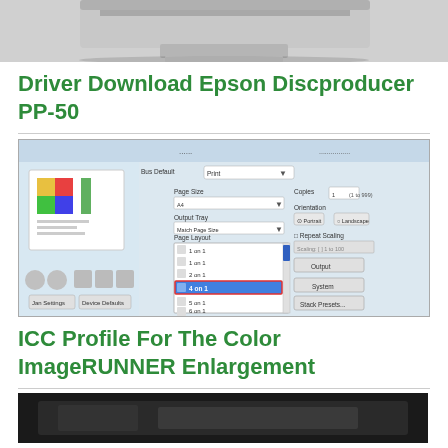[Figure (screenshot): Top portion of a printer device image (Epson Discproducer PP-50), cropped at top]
Driver Download Epson Discproducer PP-50
[Figure (screenshot): Screenshot of a printer driver settings dialog showing page layout options, paper size, output tray, page layout dropdown with options 1on1 through 9on1, with 4on1 highlighted in blue and outlined in red, along with orientation and copies settings]
ICC Profile For The Color ImageRUNNER Enlargement
[Figure (photo): Bottom portion of another device/printer image, dark colored, partially visible]